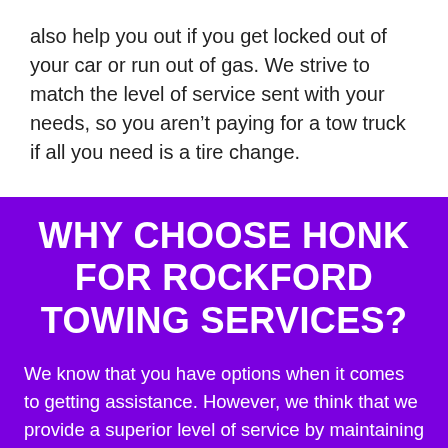also help you out if you get locked out of your car or run out of gas. We strive to match the level of service sent with your needs, so you aren't paying for a tow truck if all you need is a tire change.
WHY CHOOSE HONK FOR ROCKFORD TOWING SERVICES?
We know that you have options when it comes to getting assistance. However, we think that we provide a superior level of service by maintaining a transparent pricing model.